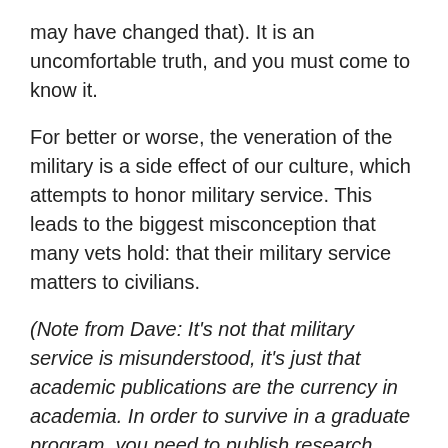may have changed that). It is an uncomfortable truth, and you must come to know it.
For better or worse, the veneration of the military is a side effect of our culture, which attempts to honor military service. This leads to the biggest misconception that many vets hold: that their military service matters to civilians.
(Note from Dave: It's not that military service is misunderstood, it's just that academic publications are the currency in academia. In order to survive in a graduate program, you need to publish research articles, no matter your experience.) Consider watching this video: